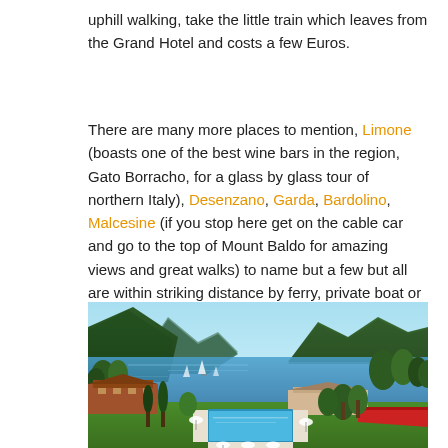uphill walking, take the little train which leaves from the Grand Hotel and costs a few Euros.
There are many more places to mention, Limone (boasts one of the best wine bars in the region, Gato Borracho, for a glass by glass tour of northern Italy), Desenzano, Garda, Bardolino, Malcesine (if you stop here get on the cable car and go to the top of Mount Baldo for amazing views and great walks) to name but a few but all are within striking distance by ferry, private boat or bus.
[Figure (photo): Aerial view of an Italian lakeside resort on Lake Garda, showing a luxury hotel with swimming pool, terrace with white umbrellas, red canopy, surrounded by lush green trees, with blue lake and mountain backdrop.]